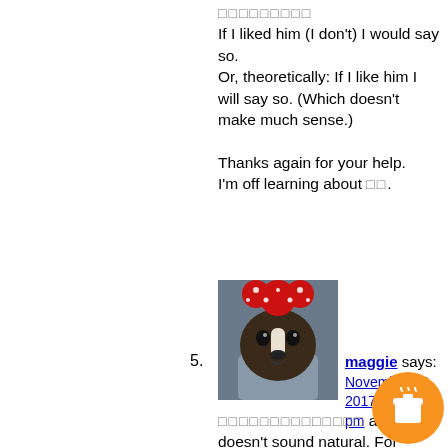□□□□□□□□□ If I liked him (I don't) I would say so.
Or, theoretically: If I like him I will say so. (Which doesn't make much sense.)

Thanks again for your help.
I'm off learning about □□.
[Figure (photo): Avatar image of a dog dressed in a Minnie Mouse costume with red polka dot bow]
5. maggie says:
November 14, 2017 at 11:09 pm
□□□□□□□□□□□□□□ alone doesn't sound natural. For example if you add □□□□ the person is eating something right now and shows his/her regret you change it to □□□□ the know the person is regretting the taste so we can tell it is something that happened in